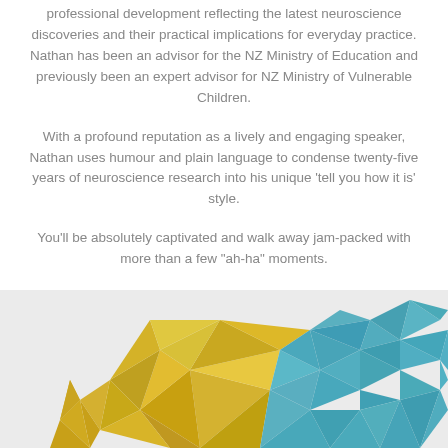professional development reflecting the latest neuroscience discoveries and their practical implications for everyday practice. Nathan has been an advisor for the NZ Ministry of Education and previously been an expert advisor for NZ Ministry of Vulnerable Children.
With a profound reputation as a lively and engaging speaker, Nathan uses humour and plain language to condense twenty-five years of neuroscience research into his unique ‘tell you how it is’ style.
You’ll be absolutely captivated and walk away jam-packed with more than a few “ah-ha” moments.
[Figure (illustration): Colorful low-poly geometric brain illustration in yellow, gold, teal, and blue tones, partially visible at the bottom of the page on a light grey background.]